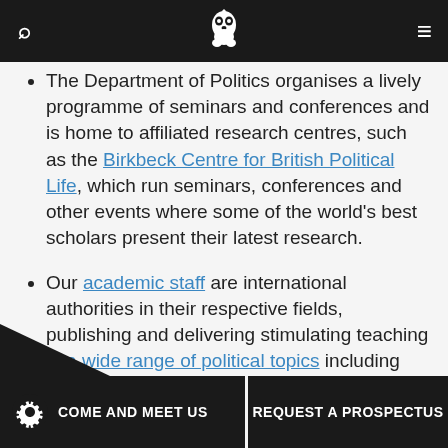Birkbeck University navigation bar with search, logo, and menu
The Department of Politics organises a lively programme of seminars and conferences and is home to affiliated research centres, such as the Birkbeck Centre for British Political Life, which run seminars, conferences and other events where some of the world's best scholars present their latest research.
Our academic staff are international authorities in their respective fields, publishing and delivering stimulating teaching in a wide range of political topics including civil society and the state, public policy, development, gender, international security and terrorism, and social and political theory, among others.
COME AND MEET US | REQUEST A PROSPECTUS